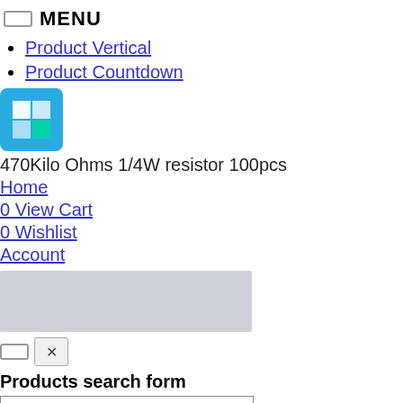MENU
Product Vertical
Product Countdown
[Figure (logo): Windows logo icon on blue background]
470Kilo Ohms 1/4W resistor 100pcs
Home
0 View Cart
0 Wishlist
Account
[Figure (other): Gray placeholder rectangle]
Products search form
[Figure (other): Search input field box]